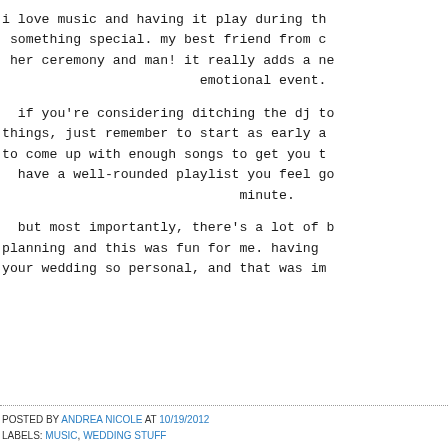i love music and having it play during th something special. my best friend from c her ceremony and man! it really adds a ne emotional event.
if you're considering ditching the dj to things, just remember to start as early a to come up with enough songs to get you t have a well-rounded playlist you feel go minute.
but most importantly, there's a lot of b planning and this was fun for me. having your wedding so personal, and that was im
POSTED BY ANDREA NICOLE AT 10/19/2012
LABELS: MUSIC, WEDDING STUFF